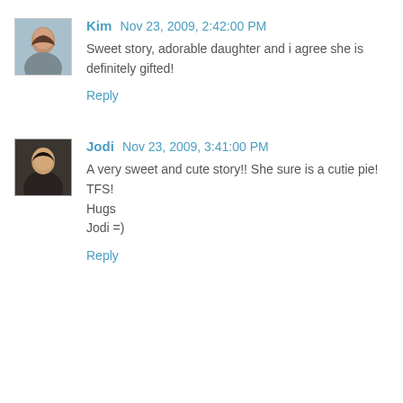[Figure (photo): Avatar photo of Kim - woman with dark hair]
Kim Nov 23, 2009, 2:42:00 PM
Sweet story, adorable daughter and i agree she is definitely gifted!
Reply
[Figure (photo): Avatar photo of Jodi - woman with dark hair smiling]
Jodi Nov 23, 2009, 3:41:00 PM
A very sweet and cute story!! She sure is a cutie pie!
TFS!
Hugs
Jodi =)
Reply